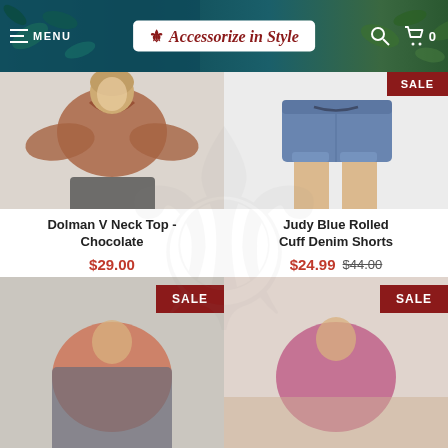MENU | Accessorize in Style | (search icon) | (cart icon) 0
[Figure (photo): Product photo of a woman wearing a chocolate-colored dolman V-neck top, blurred background]
[Figure (photo): Product photo of Judy Blue Rolled Cuff Denim Shorts on a model, with SALE badge in top right, blurred background]
Dolman V Neck Top - Chocolate
$29.00
Judy Blue Rolled Cuff Denim Shorts
$24.99 $44.00
[Figure (photo): Product photo of a clothing item, blurred, with SALE badge]
[Figure (photo): Product photo of a woman in a pink/magenta top, blurred, with SALE badge]